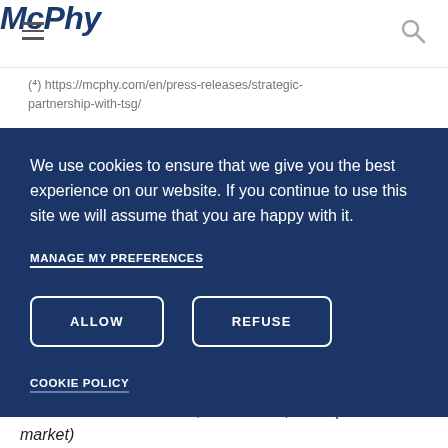McPhy
(⁴) https://mcphy.com/en/press-releases/strategic-partnership-with-tsg/
We use cookies to ensure that we give you the best experience on our website. If you continue to use this site we will assume that you are happy with it.
MANAGE MY PREFERENCES
ALLOW
REFUSE
COOKIE POLICY
2021 Full-Year Results, on March 8, 2022 (after market)